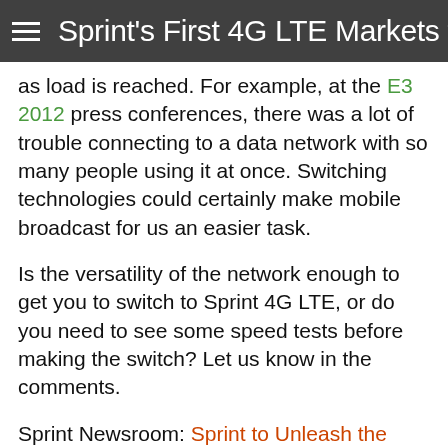Sprint's First 4G LTE Markets to
as load is reached. For example, at the E3 2012 press conferences, there was a lot of trouble connecting to a data network with so many people using it at once. Switching technologies could certainly make mobile broadcast for us an easier task.
Is the versatility of the network enough to get you to switch to Sprint 4G LTE, or do you need to see some speed tests before making the switch? Let us know in the comments.
Sprint Newsroom: Sprint to Unleash the Speed and Power of 4G LTE in Atlanta, Dallas, Houston, Kansas City and San Antonio on July 15
[Figure (other): Social sharing buttons: Facebook, Twitter, Email, Pinterest, Plus]